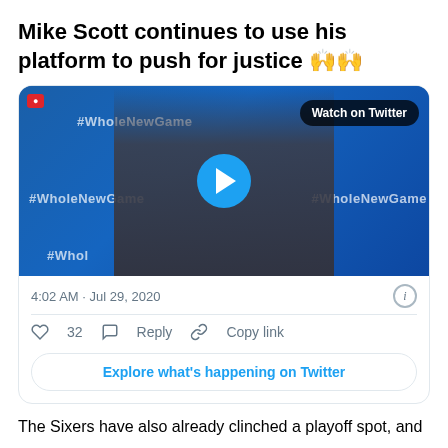Mike Scott continues to use his platform to push for justice 🙌🙌
[Figure (screenshot): Embedded tweet card showing a video thumbnail of Mike Scott in front of an NBA #WholeNewGame backdrop with a Twitter video player overlay showing 'Watch on Twitter' button and a play button. Below the video: timestamp '4:02 AM · Jul 29, 2020', like count 32, Reply and Copy link actions, and an 'Explore what's happening on Twitter' button.]
The Sixers have also already clinched a playoff spot, and